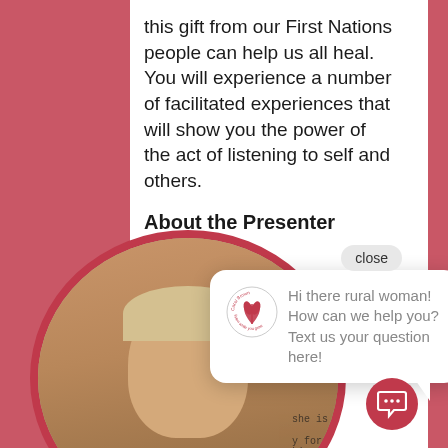this gift from our First Nations people can help us all heal. You will experience a number of facilitated experiences that will show you the power of the act of listening to self and others.
About the Presenter
[Figure (photo): Circular framed photo of a smiling middle-aged woman with light hair, in front of a whiteboard with handwriting; framed in a thick red-pink border circle.]
close
[Figure (infographic): Chat popup bubble with a circular logo (red tulip/flower design on white background with circular text around it) and message: Hi there rural woman! How can we help you? Text us your question here!]
[Figure (logo): Red circle with chat/speech bubble icon (white outline), positioned bottom-right as a floating chat button.]